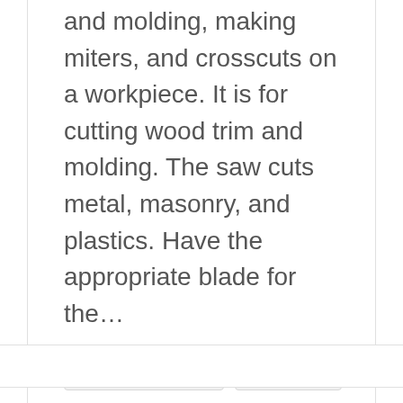and molding, making miters, and crosscuts on a workpiece. It is for cutting wood trim and molding. The saw cuts metal, masonry, and plastics. Have the appropriate blade for the...
DECEMBER 30, 2021   MITER SAW